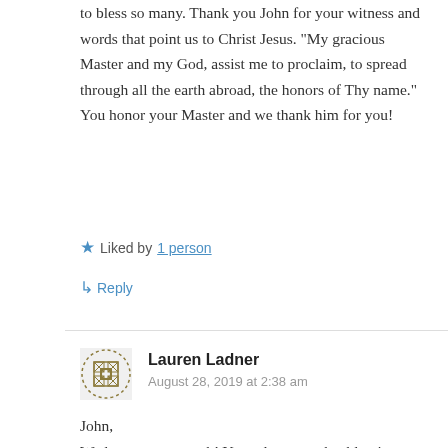to bless so many. Thank you John for your witness and words that point us to Christ Jesus. “My gracious Master and my God, assist me to proclaim, to spread through all the earth abroad, the honors of Thy name.” You honor your Master and we thank him for you!
★ Liked by 1 person
↪ Reply
Lauren Ladner
August 28, 2019 at 2:38 am
John,
We love you so much! Your always such a blessing